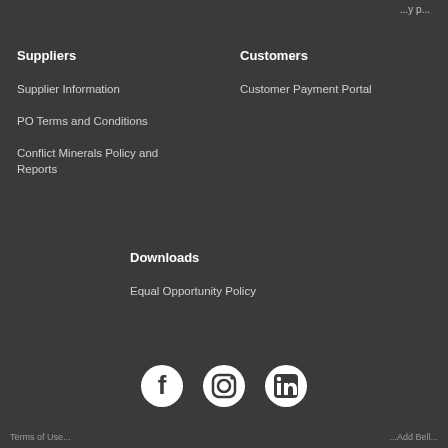Suppliers
Supplier Information
PO Terms and Conditions
Conflict Minerals Policy and Reports
Customers
Customer Payment Portal
Downloads
Equal Opportunity Policy
[Figure (infographic): Social media icons: Facebook, Instagram, LinkedIn]
Terms of Use  |  Add Bell...